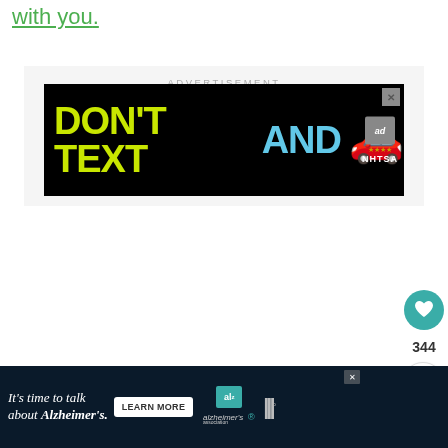with you.
ADVERTISEMENT
[Figure (screenshot): NHTSA 'Don't Text and Drive' advertisement banner on black background with yellow-green text 'DON'T TEXT' and cyan text 'AND' followed by a red car emoji and NHTSA ad badge logo]
[Figure (screenshot): Alzheimer's Association 'It's time to talk about Alzheimer's' advertisement banner with Learn More button and logos on dark background]